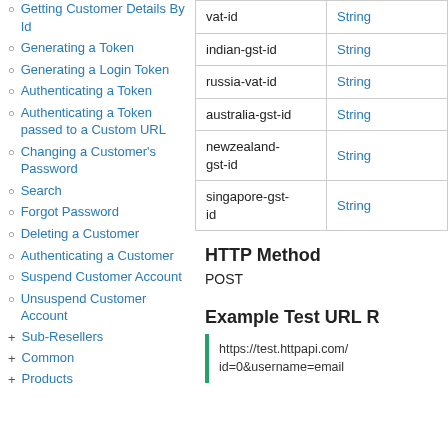Getting Customer Details By Id
Generating a Token
Generating a Login Token
Authenticating a Token
Authenticating a Token passed to a Custom URL
Changing a Customer's Password
Search
Forgot Password
Deleting a Customer
Authenticating a Customer
Suspend Customer Account
Unsuspend Customer Account
Sub-Resellers
Common
Products
|  |  |
| --- | --- |
| vat-id | String |
| indian-gst-id | String |
| russia-vat-id | String |
| australia-gst-id | String |
| newzealand-gst-id | String |
| singapore-gst-id | String |
HTTP Method
POST
Example Test URL R
https://test.httpapi.com/
id=0&username=email